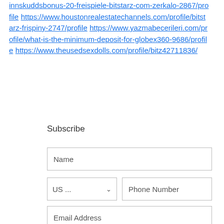innskuddsbonus-20-freispiele-bitstarz-com-zerkalo-2867/profile https://www.houstonrealestatechannels.com/profile/bitstarz-frispiny-2747/profile https://www.yazmabecerileri.com/profile/what-is-the-minimum-deposit-for-globex360-9686/profile https://www.theusedsexdolls.com/profile/bitz42711836/
Subscribe
Name
US ...
Phone Number
Email Address